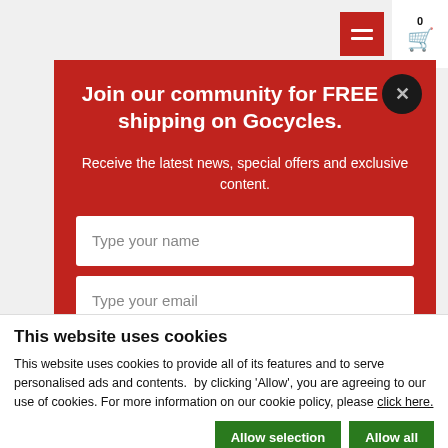[Figure (screenshot): Navigation bar with hamburger menu icon (red) and shopping cart icon showing 0 items]
Join our community for FREE shipping on Gocycles.
Receive the latest news, special offers and exclusive content.
[Figure (screenshot): Form input field with placeholder text 'Type your name']
[Figure (screenshot): Form input field with placeholder text 'Type your email']
This website uses cookies
This website uses cookies to provide all of its features and to serve personalised ads and contents.  by clicking 'Allow', you are agreeing to our use of cookies. For more information on our cookie policy, please click here.
Allow selection   Allow all
Necessary   Preferences   Statistics   Marketing   Show details